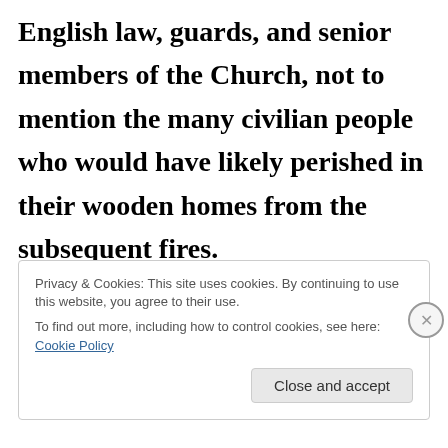English law, guards, and senior members of the Church, not to mention the many civilian people who would have likely perished in their wooden homes from the subsequent fires.

This band of 13 Christians believed that
Privacy & Cookies: This site uses cookies. By continuing to use this website, you agree to their use.
To find out more, including how to control cookies, see here: Cookie Policy